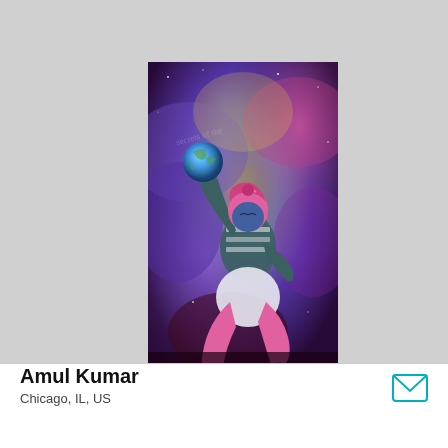[Figure (illustration): Digital fantasy illustration of a figure with pink hair and blue/green skin, crouching and holding a glowing Earth globe. Background is a colorful cosmic nebula with purple, blue, pink, and yellow hues. Text reading 'secrets of the...' appears faintly in the background. Artist watermark visible at bottom right.]
Amul Kumar
Chicago, IL, US